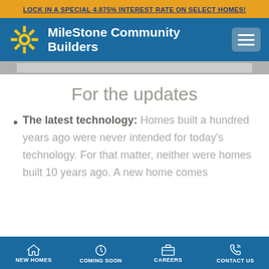LOCK IN A SPECIAL 4.875% INTEREST RATE ON SELECT HOMES!
[Figure (screenshot): MileSone Community Builders navigation header with logo and hamburger menu on blue background]
[Figure (photo): Gray image strip showing partial house/building photo]
For the updates
The latest technology: Homes built a hundred years ago were never intended for today’s technology. For that matter, neither were homes built 10 years ago. A new home comes
NEW HOMES  COMING SOON  CAREERS  CONTACT US